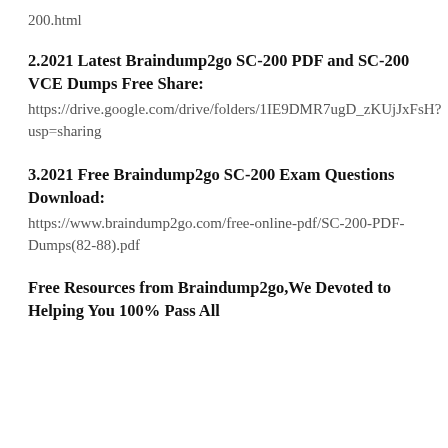200.html
2.2021 Latest Braindump2go SC-200 PDF and SC-200 VCE Dumps Free Share:
https://drive.google.com/drive/folders/1IE9DMR7ugD_zKUjJxFsH?usp=sharing
3.2021 Free Braindump2go SC-200 Exam Questions Download:
https://www.braindump2go.com/free-online-pdf/SC-200-PDF-Dumps(82-88).pdf
Free Resources from Braindump2go,We Devoted to Helping You 100% Pass All